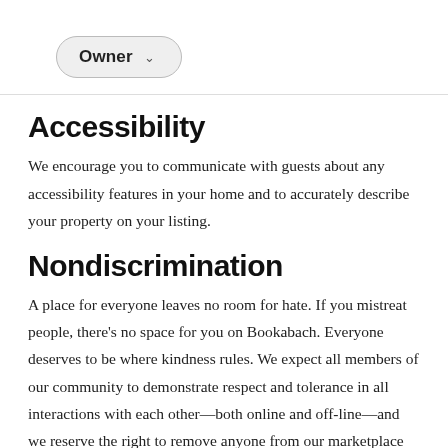Owner
Accessibility
We encourage you to communicate with guests about any accessibility features in your home and to accurately describe your property on your listing.
Nondiscrimination
A place for everyone leaves no room for hate. If you mistreat people, there's no space for you on Bookabach. Everyone deserves to be where kindness rules. We expect all members of our community to demonstrate respect and tolerance in all interactions with each other—both online and off-line—and we reserve the right to remove anyone from our marketplace who fails